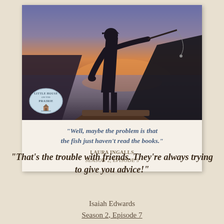[Figure (photo): Silhouette of a person fly fishing from a boat at sunset on a lake, with mountains in the background. Orange and purple sky reflected on the water. Little House on the Prairie logo badge in bottom-left corner of the photo. Below photo: quote text 'Well, maybe the problem is that the fish just haven't read the books.' attributed to Laura Ingalls, Season 2, Episode 3.]
“That’s the trouble with friends. They’re always trying to give you advice!”
Isaiah Edwards
Season 2, Episode 7